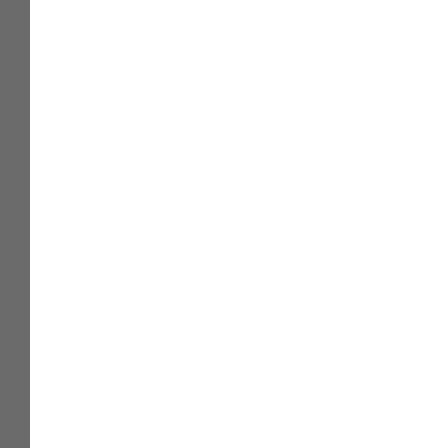[Figure (illustration): Small gold/yellow padlock or security icon]
Cryptainer LE Free Encryption Software - Encrypt any file or folder on any Windows PC. Any Media, any type of data. Cryptainer LE Free Encryption Software. Password protect any file or folder with strong Encryption. Send secure e-mail. Protects data on USB Drives, CDs and HDDs. Freeware.
[Figure (illustration): Small document/floppy disk icon]